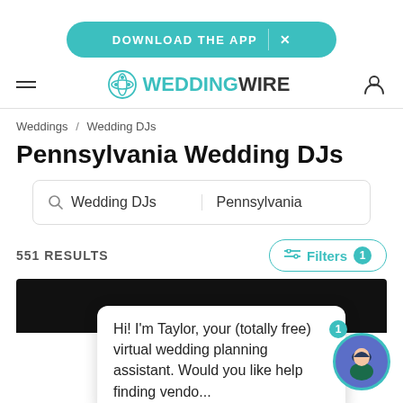[Figure (screenshot): Teal rounded download the app banner with X close button]
[Figure (logo): WeddingWire logo with teal flower icon, hamburger menu on left, user icon on right]
Weddings / Wedding DJs
Pennsylvania Wedding DJs
[Figure (screenshot): Search bar with 'Wedding DJs' in left field and 'Pennsylvania' in right field]
551 RESULTS
Filters 1
Hi! I'm Taylor, your (totally free) virtual wedding planning assistant. Would you like help finding vendo...